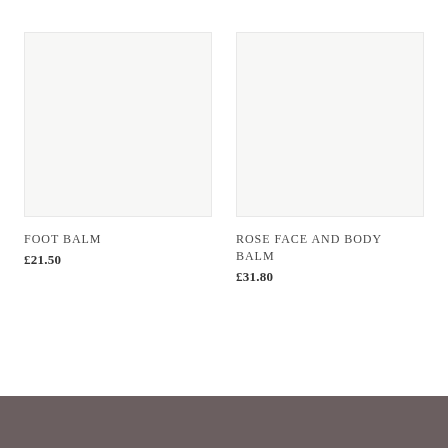[Figure (photo): Product image placeholder for Foot Balm - light grey/off-white square]
FOOT BALM
£21.50
[Figure (photo): Product image placeholder for Rose Face and Body Balm - light grey/off-white square]
ROSE FACE AND BODY BALM
£31.80